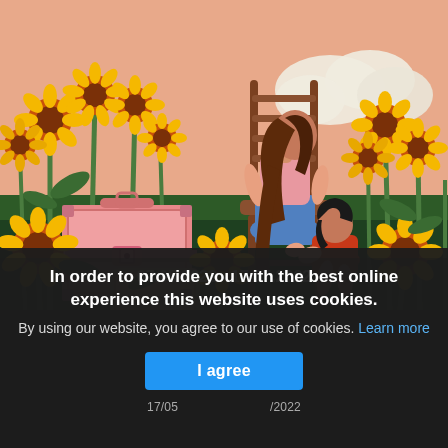[Figure (illustration): Illustration of a woman sitting on a wooden chair in a sunflower field, with long brown hair, wearing a pink top and blue skirt. A child in an orange/red dress sits at her feet. Pink suitcases are stacked to the left. Background has clouds and a peachy-pink sky.]
07.05.2022 - 17.07.2022
In order to provide you with the best online experience this website uses cookies.
By using our website, you agree to our use of cookies. Learn more
I agree
17/05 ... /2022